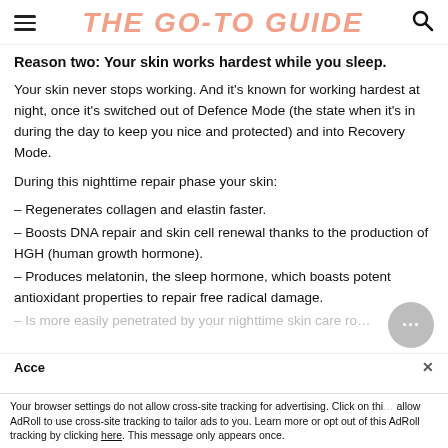THE GO-TO GUIDE
Reason two: Your skin works hardest while you sleep.
Your skin never stops working. And it’s known for working hardest at night, once it’s switched out of Defence Mode (the state when it’s in during the day to keep you nice and protected) and into Recovery Mode.
During this nighttime repair phase your skin:
- Regenerates collagen and elastin faster.
- Boosts DNA repair and skin cell renewal thanks to the production of HGH (human growth hormone).
- Produces melatonin, the sleep hormone, which boasts potent antioxidant properties to repair free radical damage.
- Is more easily penetrated by your nighttime skin care ro...
Acce... ×
Your browser settings do not allow cross-site tracking for advertising. Click on this to allow AdRoll to use cross-site tracking to tailor ads to you. Learn more or opt out of this AdRoll tracking by clicking here. This message only appears once.